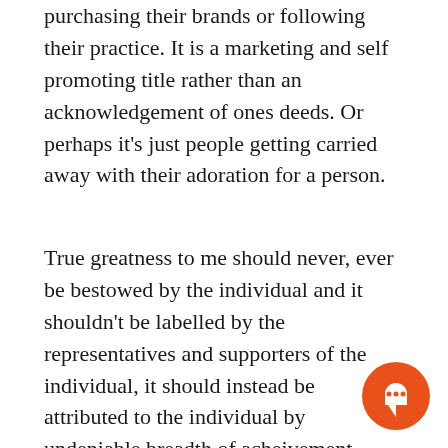purchasing their brands or following their practice. It is a marketing and self promoting title rather than an acknowledgement of ones deeds. Or perhaps it's just people getting carried away with their adoration for a person.
True greatness to me should never, ever be bestowed by the individual and it shouldn't be labelled by the representatives and supporters of the individual, it should instead be attributed to the individual by undeniable breadth of acheivement. Wether those achievements are the physical trophies and titles of the individuals endeavours (Ali's titles, Heights awards), the many people they inspired, the soc changes made as a result of their effo dignity they have, authenticity of their work
[Figure (other): Orange circular chat bubble icon in the bottom right area of the page]